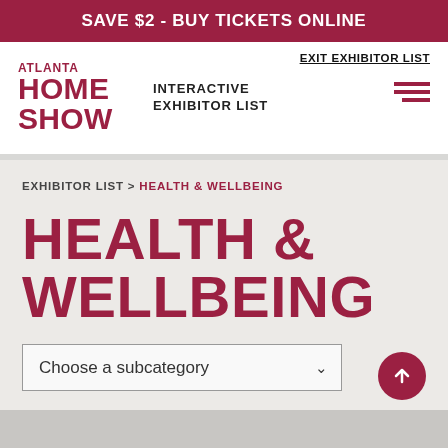SAVE $2 - BUY TICKETS ONLINE
ATLANTA HOME SHOW
INTERACTIVE EXHIBITOR LIST
EXIT EXHIBITOR LIST
EXHIBITOR LIST > HEALTH & WELLBEING
HEALTH & WELLBEING
Choose a subcategory